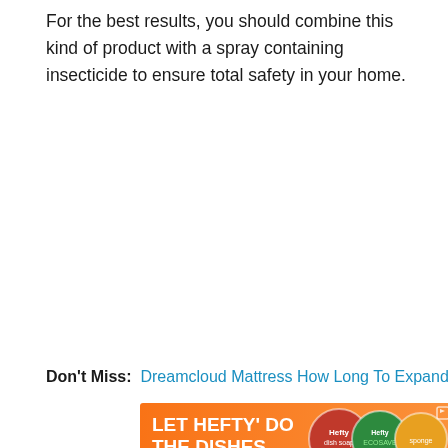For the best results, you should combine this kind of product with a spray containing insecticide to ensure total safety in your home.
Don't Miss: Dreamcloud Mattress How Long To Expand
[Figure (illustration): Advertisement banner for Hefty dish products on an orange gradient background. Text reads 'LET HEFTY DO THE DISHES' with product images and 'SHOP NOW' button. Footer text: '© 2022 Reynolds Consumer Products LLC']